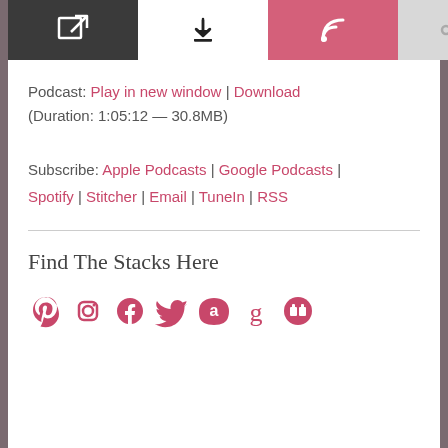[Figure (screenshot): Podcast player toolbar with four buttons: external link (dark), download (white), RSS (pink), share (light gray)]
Podcast: Play in new window | Download (Duration: 1:05:12 — 30.8MB)
Subscribe: Apple Podcasts | Google Podcasts | Spotify | Stitcher | Email | TuneIn | RSS
Find The Stacks Here
[Figure (infographic): Social media icons row: Apple, Instagram, Facebook, Twitter, Amazon, Goodreads, Patreon — all in pink/rose color]